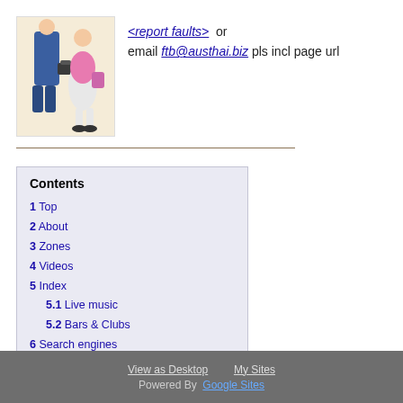[Figure (illustration): Cartoon illustration of two characters — a blue figure carrying a briefcase and a pink/white figure, on a light background]
<report faults>  or email ftb@austhai.biz pls incl page url
Contents
1 Top
2 About
3 Zones
4 Videos
5 Index
5.1 Live music
5.2 Bars & Clubs
6 Search engines
7 Pls share me
8 Related topics
9 Feedback
View as Desktop   My Sites
Powered By  Google Sites